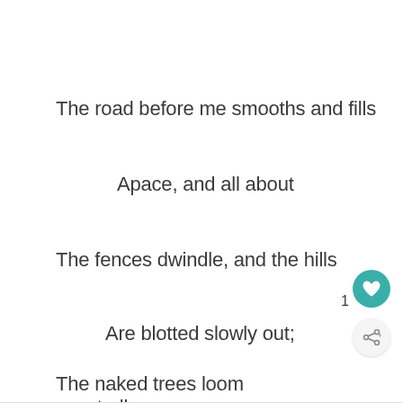The road before me smooths and fills
Apace, and all about
The fences dwindle, and the hills
Are blotted slowly out;
The naked trees loom spectrally